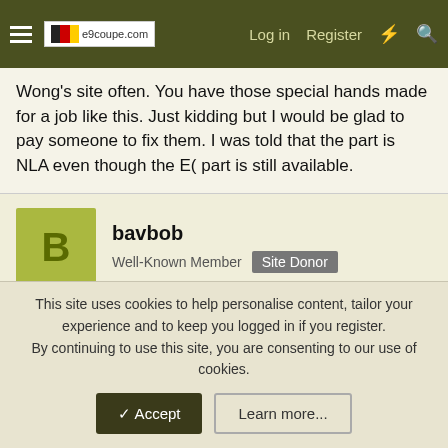e9coupe.com — Log in  Register
Wong's site often. You have those special hands made for a job like this. Just kidding but I would be glad to pay someone to fix them. I was told that the part is NLA even though the E( part is still available.
bavbob
Well-Known Member  Site Donor
Feb 11, 2022  #9
Sounds like you have nothing to lose. Open em up, take a peek, slide may just be hung up.
Last edited: Feb 11, 2022
This site uses cookies to help personalise content, tailor your experience and to keep you logged in if you register.
By continuing to use this site, you are consenting to our use of cookies.